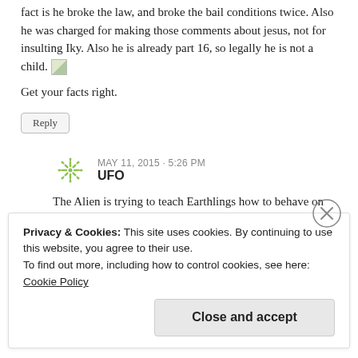fact is he broke the law, and broke the bail conditions twice. Also he was charged for making those comments about jesus, not for insulting Iky. Also he is already part 16, so legally he is not a child.
Get your facts right.
Reply
MAY 11, 2015 - 5:26 PM
UFO
The Alien is trying to teach Earthlings how to behave on the Earth.
Reply
Privacy & Cookies: This site uses cookies. By continuing to use this website, you agree to their use.
To find out more, including how to control cookies, see here: Cookie Policy
Close and accept